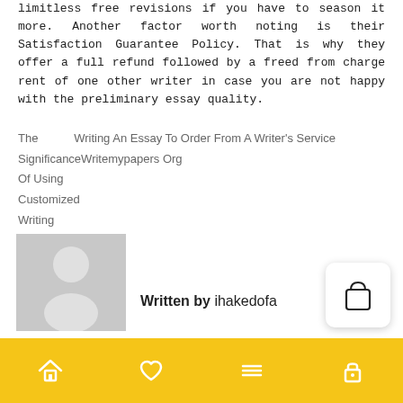limitless free revisions if you have to season it more. Another factor worth noting is their Satisfaction Guarantee Policy. That is why they offer a full refund followed by a freed from charge rent of one other writer in case you are not happy with the preliminary essay quality.
The Significance Of Using Customized Writing Services    Writing An Essay To Order From A Writer's Service Writemypapers Org
[Figure (photo): Gray placeholder avatar silhouette image]
Written by ihakedofa
[Figure (other): Shopping bag icon in a white rounded card]
Navigation footer bar with home, heart, menu, and lock icons